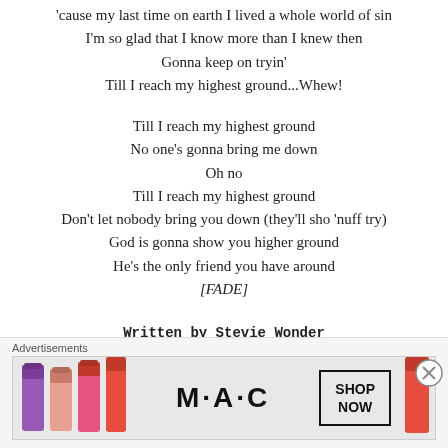'cause my last time on earth I lived a whole world of sin
I'm so glad that I know more than I knew then
Gonna keep on tryin'
Till I reach my highest ground...Whew!
Till I reach my highest ground
No one's gonna bring me down
Oh no
Till I reach my highest ground
Don't let nobody bring you down (they'll sho 'nuff try)
God is gonna show you higher ground
He's the only friend you have around
[FADE]
Written by Stevie Wonder
Advertisements
[Figure (infographic): MAC cosmetics advertisement banner showing lipsticks in purple, peach, pink colors, MAC logo, and a SHOP NOW button]